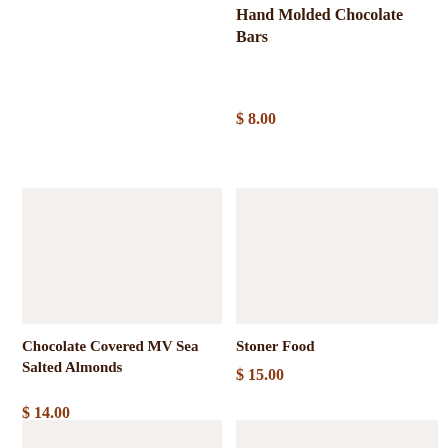Hand Molded Chocolate Bars
$ 8.00
[Figure (photo): Product image placeholder for Chocolate Covered MV Sea Salted Almonds]
Chocolate Covered MV Sea Salted Almonds
$ 14.00
[Figure (photo): Product image placeholder for Stoner Food]
Stoner Food
$ 15.00